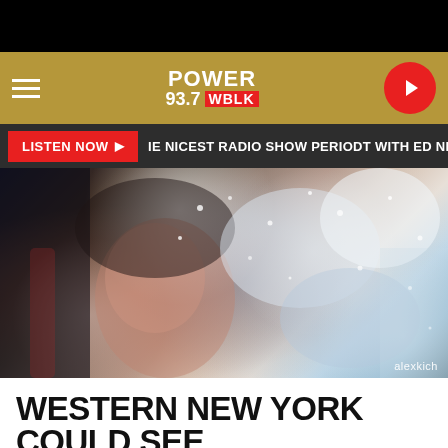[Figure (screenshot): Power 93.7 WBLK radio station navigation bar with hamburger menu, logo, and play button on gold/tan background]
LISTEN NOW ▶ IE NICEST RADIO SHOW PERIODT WITH ED NICE
[Figure (photo): Person's face seen through a frost-covered car window, winter scene, photo credit: alexkich]
WESTERN NEW YORK COULD SEE